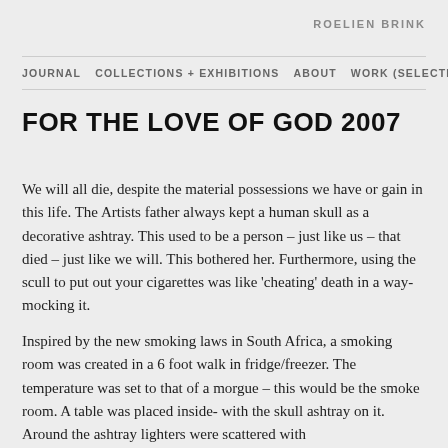ROELIEN BRINK
JOURNAL   COLLECTIONS + EXHIBITIONS   ABOUT   WORK (SELECTED)
FOR THE LOVE OF GOD 2007
We will all die, despite the material possessions we have or gain in this life. The Artists father always kept a human skull as a decorative ashtray. This used to be a person – just like us – that died – just like we will. This bothered her. Furthermore, using the scull to put out your cigarettes was like 'cheating' death in a way- mocking it.
Inspired by the new smoking laws in South Africa, a smoking room was created in a 6 foot walk in fridge/freezer. The temperature was set to that of a morgue – this would be the smoke room. A table was placed inside- with the skull ashtray on it. Around the ashtray lighters were scattered with